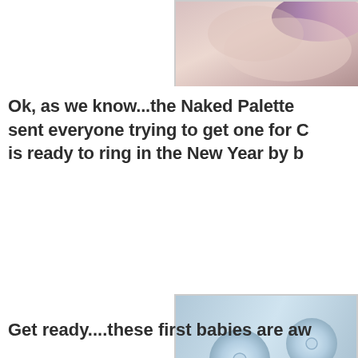[Figure (photo): Partial photo of a person, cropped, showing skin tones with purple element, top right corner]
Ok, as we know...the Naked Palette sent everyone trying to get one for C is ready to ring in the New Year by b
[Figure (photo): Close-up photo of a silver/metallic tufted surface (possibly a palette or compact) with brown/mauve color swatches visible at bottom]
Get ready....these first babies are aw